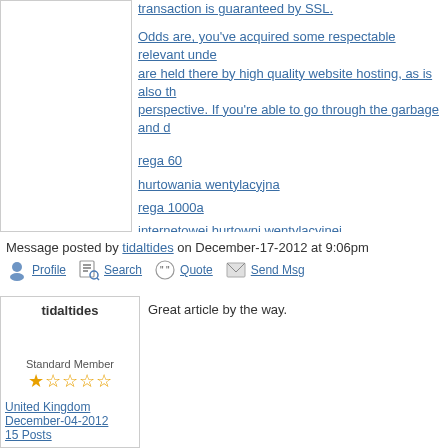transaction is guaranteed by SSL.
Odds are, you've acquired some respectable relevant unde... are held there by high quality website hosting, as is also th... perspective. If you're able to go through the garbage and d...
rega 60
hurtowania wentylacyjna
rega 1000a
internetowej hurtowni wentylacyjnej
rega 1000a
Message posted by tidaltides on December-17-2012 at 9:06pm
Profile   Search   Quote   Send Msg
tidaltides
Standard Member
United Kingdom
December-04-2012
15 Posts
Great article by the way.